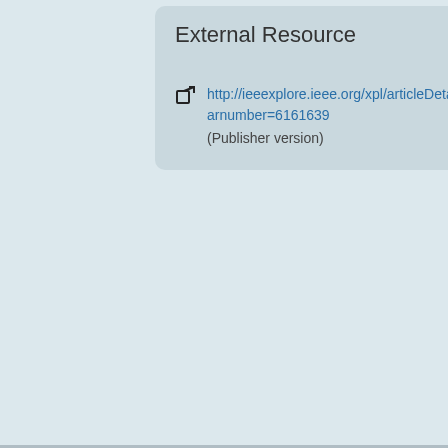External Resource
http://ieeexplore.ieee.org/xpl/articleDetails.arnumber=6161639
(Publisher version)
Systems Interacting W...
doi:10.1109/TIE.2012.
Cite as: http://hdl.hand...
Abstract
Surgical teleoperation unsolved issues such a tissues, and difficulty i make it difficult to gene these issues by propos environment, i.e., soft characteristics of soft t predefined parameter scheme is employed to force measurement in scheduling control is v control scheme shows Error of the transmitted for frequencies less th